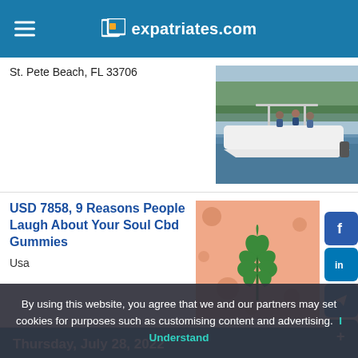expatriates.com
St. Pete Beach, FL 33706
[Figure (photo): White boat on water with people aboard]
USD 7858, 9 Reasons People Laugh About Your Soul Cbd Gummies
Usa
[Figure (photo): Cannabis leaf on pink background with dots]
Thursday, July 28, 2022
Are You Looking For CO/FT Contender Boat For Sale?
St. Pete Beach, FL 33706
By using this website, you agree that we and our partners may set cookies for purposes such as customising content and advertising. I Understand